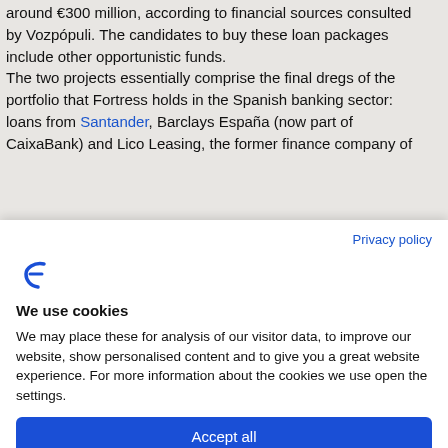...around €300 million, according to financial sources consulted by Vozpópuli. The candidates to buy these loan packages include other opportunistic funds. The two projects essentially comprise the final dregs of the portfolio that Fortress holds in the Spanish banking sector: loans from Santander, Barclays España (now part of CaixaBank) and Lico Leasing, the former finance company of...
Privacy policy
[Figure (logo): Feedly-style curved F logo in blue]
We use cookies
We may place these for analysis of our visitor data, to improve our website, show personalised content and to give you a great website experience. For more information about the cookies we use open the settings.
Accept all
Deny
No, adjust